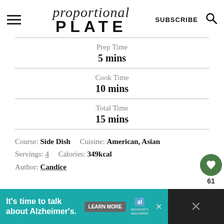proportional PLATE — SUBSCRIBE
Prep Time
5 mins
Cook Time
10 mins
Total Time
15 mins
Course: Side Dish   Cuisine: American, Asian
Servings: 4   Calories: 349kcal
Author: Candice
[Figure (infographic): Advertisement banner: It's time to talk about Alzheimer's. Learn More. Alzheimer's Association logo.]